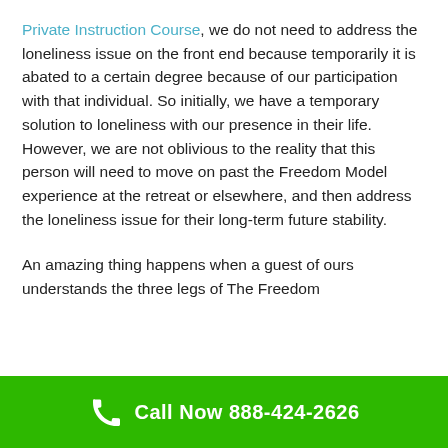Private Instruction Course, we do not need to address the loneliness issue on the front end because temporarily it is abated to a certain degree because of our participation with that individual. So initially, we have a temporary solution to loneliness with our presence in their life. However, we are not oblivious to the reality that this person will need to move on past the Freedom Model experience at the retreat or elsewhere, and then address the loneliness issue for their long-term future stability.

An amazing thing happens when a guest of ours understands the three legs of The Freedom
Call Now 888-424-2626